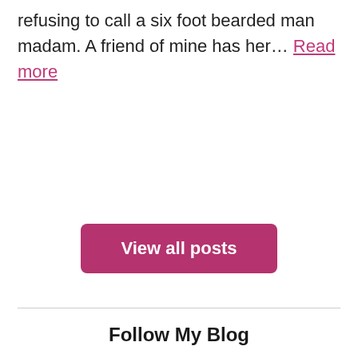refusing to call a six foot bearded man madam. A friend of mine has her... Read more
View all posts
Follow My Blog